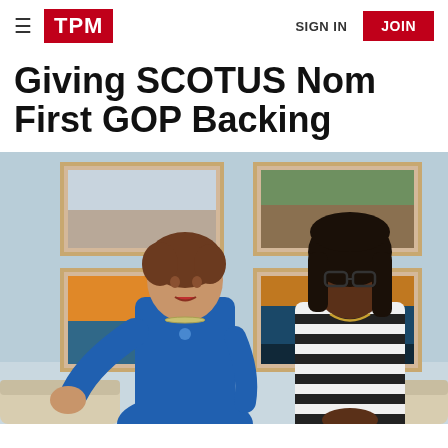TPM | SIGN IN | JOIN
Giving SCOTUS Nom First GOP Backing
[Figure (photo): Two women standing side by side in front of framed landscape photos on a light blue wall. The woman on the left wears a blue suit jacket and is gesturing with her hands while speaking. The woman on the right wears a black and white striped top and is smiling with her hands clasped.]